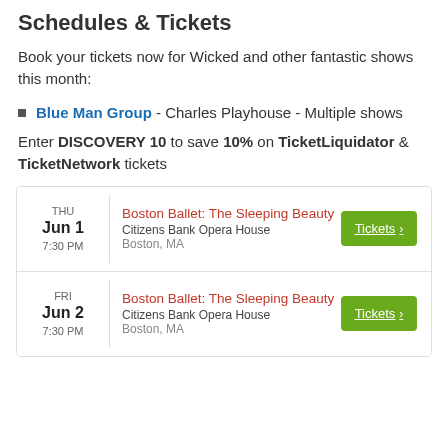Schedules & Tickets
Book your tickets now for Wicked and other fantastic shows this month:
Blue Man Group - Charles Playhouse - Multiple shows
Enter DISCOVERY 10 to save 10% on TicketLiquidator & TicketNetwork tickets
| Date | Event | Action |
| --- | --- | --- |
| THU Jun 1 7:30 PM | Boston Ballet: The Sleeping Beauty
Citizens Bank Opera House
Boston, MA | Tickets > |
| FRI Jun 2 7:30 PM | Boston Ballet: The Sleeping Beauty
Citizens Bank Opera House
Boston, MA | Tickets > |